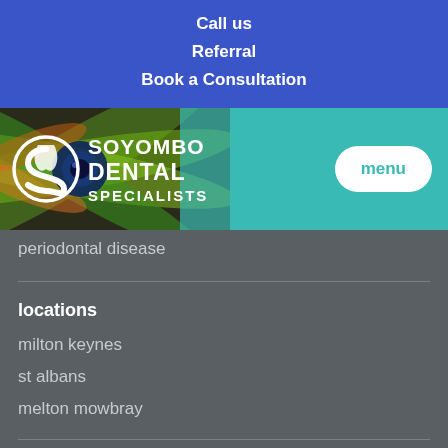Call us
Referral
Book a Consultation
[Figure (logo): Soyombo Dental Specialists logo with peacock feather background and teal header band with menu button]
periodontal disease
locations
milton keynes
st albans
melton mowbray
policies
terms of use